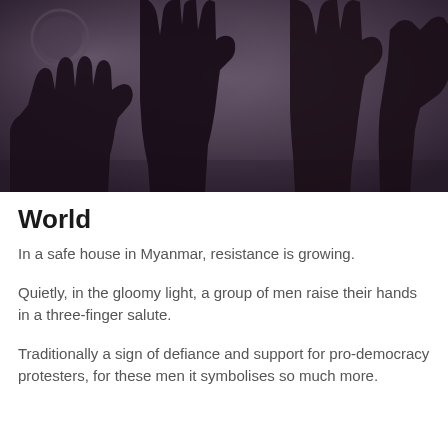[Figure (photo): Dark silhouette photograph of multiple hands raised in a three-finger salute against a dim, gloomy background.]
World
In a safe house in Myanmar, resistance is growing.
Quietly, in the gloomy light, a group of men raise their hands in a three-finger salute.
Traditionally a sign of defiance and support for pro-democracy protesters, for these men it symbolises so much more.